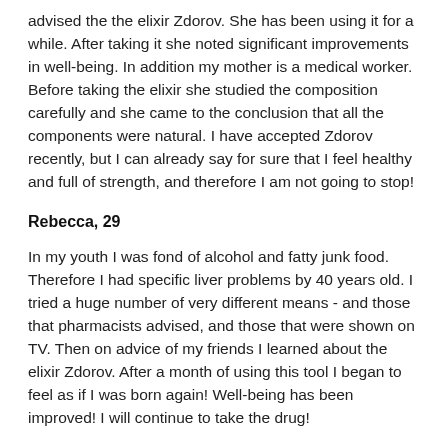advised the the elixir Zdorov. She has been using it for a while. After taking it she noted significant improvements in well-being. In addition my mother is a medical worker. Before taking the elixir she studied the composition carefully and she came to the conclusion that all the components were natural. I have accepted Zdorov recently, but I can already say for sure that I feel healthy and full of strength, and therefore I am not going to stop!
Rebecca, 29
In my youth I was fond of alcohol and fatty junk food. Therefore I had specific liver problems by 40 years old. I tried a huge number of very different means - and those that pharmacists advised, and those that were shown on TV. Then on advice of my friends I learned about the elixir Zdorov. After a month of using this tool I began to feel as if I was born again! Well-being has been improved! I will continue to take the drug!